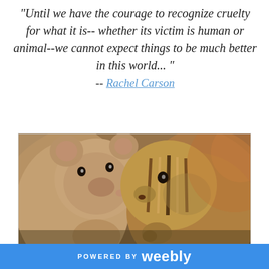"Until we have the courage to recognize cruelty for what it is-- whether its victim is human or animal--we cannot expect things to be much better in this world... " -- Rachel Carson
[Figure (photo): A chipmunk appears to be nose-to-nose or 'kissing' a small brown teddy bear stuffed animal. Close-up photo with blurred background.]
POWERED BY weebly